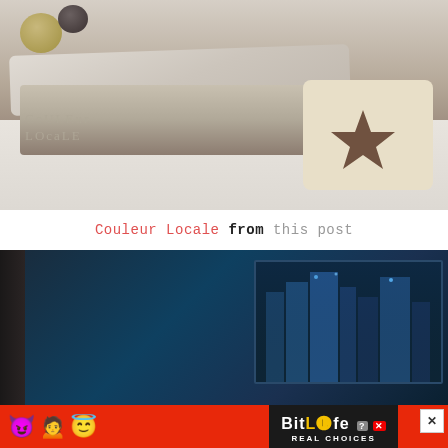[Figure (photo): Interior bedroom photo showing a floor mattress with linen blanket, a tote bag with a star design, decorative balls, on white wooden floor. Watermark text 'CoULEur LOcaLE' visible in lower left.]
Couleur Locale from this post
[Figure (photo): Dark teal/navy interior room with dark curtain on left and a large canvas print of a city skyline at night on the right wall.]
[Figure (photo): Advertisement banner: BitLife Real Choices app ad with emoji characters (devil, person, angel) on red background with black logo area showing BitLife and Real Choices text.]